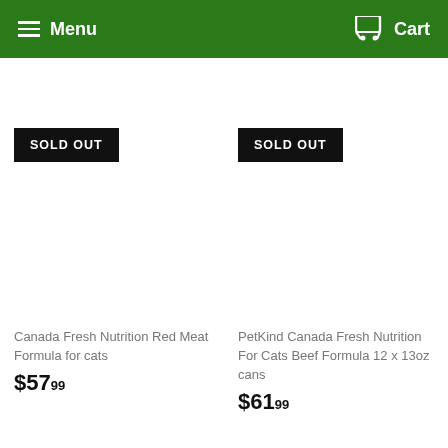Menu  Cart
[Figure (other): Product image area with SOLD OUT badge for Canada Fresh Nutrition Red Meat Formula for cats]
Canada Fresh Nutrition Red Meat Formula for cats
$57.99
[Figure (other): Product image area with SOLD OUT badge for PetKind Canada Fresh Nutrition For Cats Beef Formula 12 x 13oz cans]
PetKind Canada Fresh Nutrition For Cats Beef Formula 12 x 13oz cans
$61.99